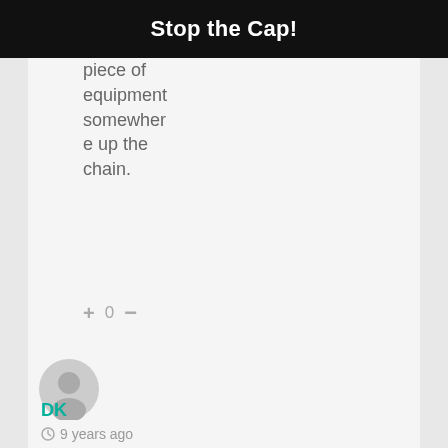Stop the Cap!
piece of equipment somewhere up the chain.
+ 0 −
[Figure (illustration): Generic user avatar icon, circular gray silhouette]
DK
9 years ago
Also, I see TW using the customer supplied modems as